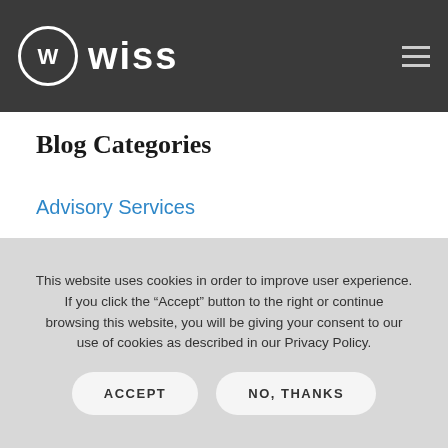Wiss
Blog Categories
Advisory Services
American Rescue Plan
Assurance
Construction
This website uses cookies in order to improve user experience. If you click the “Accept” button to the right or continue browsing this website, you will be giving your consent to our use of cookies as described in our Privacy Policy.
ACCEPT
NO, THANKS